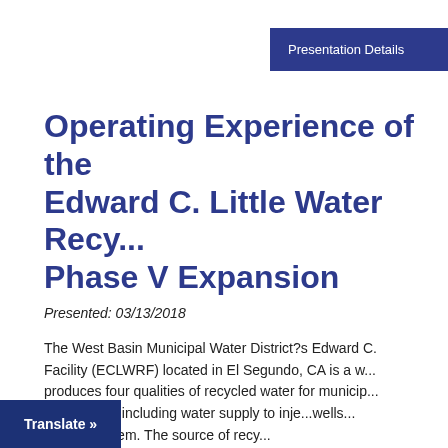Presentation Details
Operating Experience of the Edward C. Little Water Recycling Phase V Expansion
Presented: 03/13/2018
The West Basin Municipal Water District?s Edward C. Facility (ECLWRF) located in El Segundo, CA is a w... produces four qualities of recycled water for municip... applications including water supply to inje...wells... Barrier System. The source of recy...